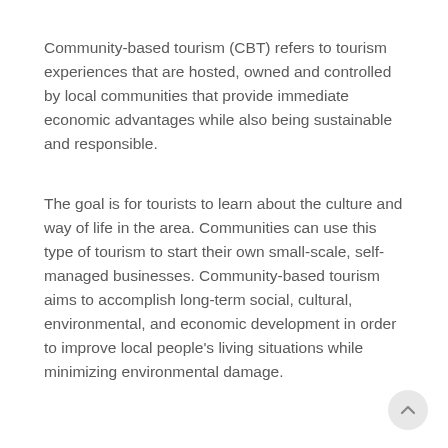Community-based tourism (CBT) refers to tourism experiences that are hosted, owned and controlled by local communities that provide immediate economic advantages while also being sustainable and responsible.
The goal is for tourists to learn about the culture and way of life in the area. Communities can use this type of tourism to start their own small-scale, self-managed businesses. Community-based tourism aims to accomplish long-term social, cultural, environmental, and economic development in order to improve local people's living situations while minimizing environmental damage.